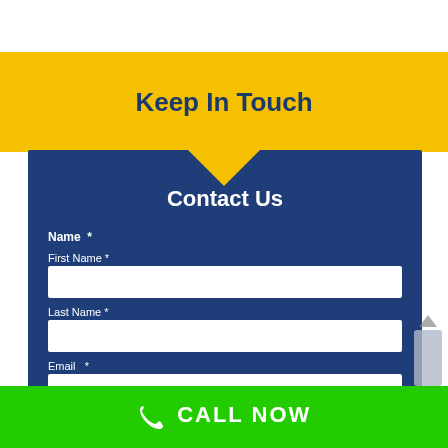Keep In Touch
Contact Us
Name *
First Name *
Last Name *
Email *
CALL NOW